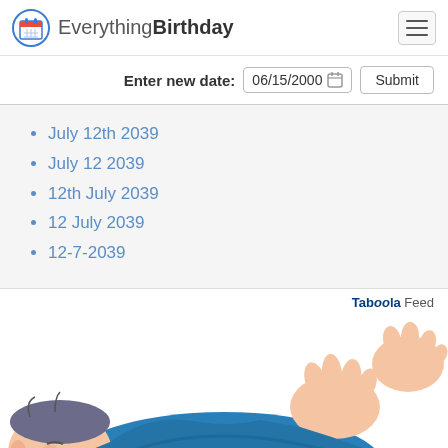EverythingBirthday
Enter new date: 06/15/2000  Submit
July 12th 2039
July 12 2039
12th July 2039
12 July 2039
12-7-2039
Taboola Feed
[Figure (illustration): Illustration of a person lying down in blue clothes, viewed from above, with hands and feet visible at top and bottom.]